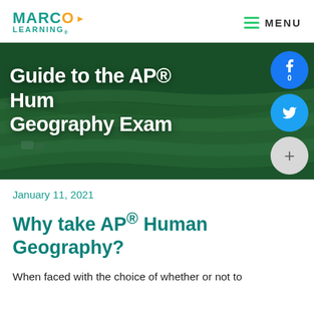MARCO LEARNING — MENU
[Figure (photo): Aerial view of terraced green tea fields on a hillside, used as hero banner image with title 'Guide to the AP® Human Geography Exam' overlaid in white bold text. Social sharing buttons (Facebook, Twitter, plus) are overlaid on the right side.]
Guide to the AP® Human Geography Exam
January 11, 2021
Why take AP® Human Geography?
When faced with the choice of whether or not to